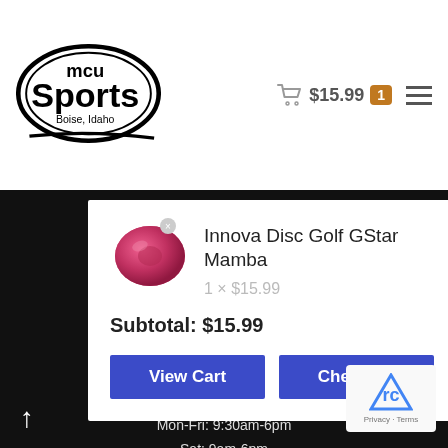[Figure (logo): MCU Sports Boise Idaho logo — oval with 'mcu Sports Boise, Idaho' text]
$15.99  1
[Figure (illustration): Pink disc golf disc (Innova GStar Mamba)]
Innova Disc Golf GStar Mamba
1 × $15.99
Subtotal: $15.99
View Cart
Checkout
Boise, ID 83702
STORE HOURS
Mon-Fri: 9:30am-6pm
Sat: 9am-6pm
Sun: 11am-6pm
RENTAL SHOP HOURS
Mon-Fri: 9:30am-6pm